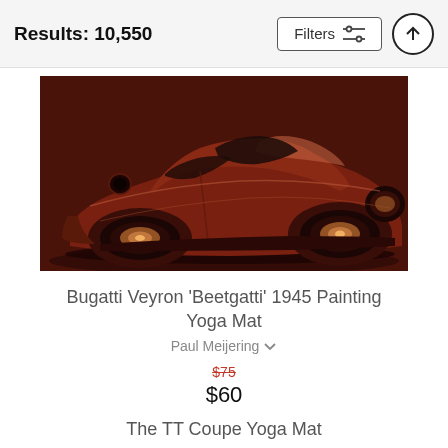Results: 10,550
[Figure (photo): A painting of a red/brown custom Bugatti Veyron 'Beetgatti' 1945 car from a low angle side view, with dramatic lighting on a dark red background.]
Bugatti Veyron 'Beetgatti' 1945 Painting Yoga Mat
Paul Meijering
$75 $60
The TT Coupe Yoga Mat